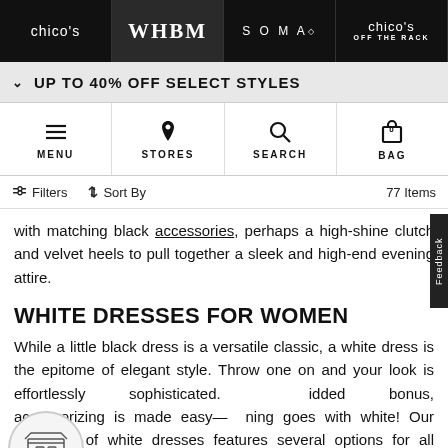chico's | WHBM | SOMA | chico's OFF THE RACK
UP TO 40% OFF SELECT STYLES
MENU | STORES | SEARCH | BAG
Filters  Sort By  77 Items
with matching black accessories, perhaps a high-shine clutch and velvet heels to pull together a sleek and high-end evening attire.
WHITE DRESSES FOR WOMEN
While a little black dress is a versatile classic, a white dress is the epitome of elegant style. Throw one on and your look is effortlessly sophisticated. As an added bonus, accessorizing is made easy—everything goes with white! Our collection of white dresses features several options for all occasions, from white sheath dresses for the office to